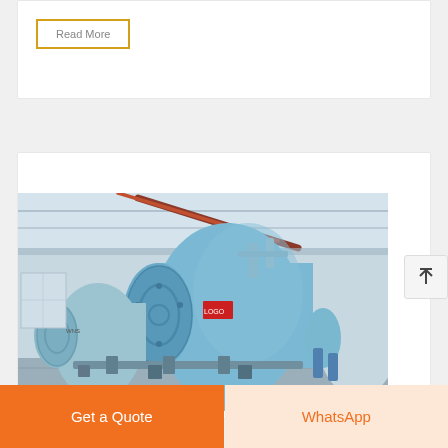Read More
[Figure (photo): Industrial boiler room with large cylindrical blue horizontal boilers, pipes, and industrial equipment in a factory setting]
Get a Quote
WhatsApp